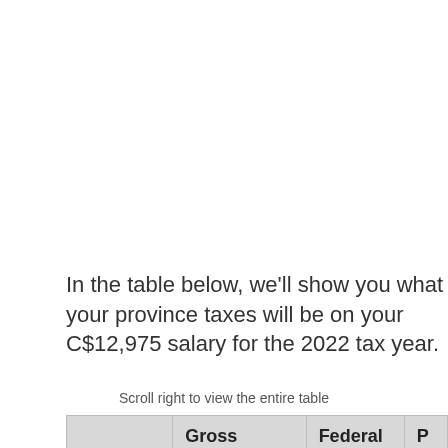In the table below, we'll show you what your province taxes will be on your C$12,975 salary for the 2022 tax year.
Scroll right to view the entire table
|  | Gross | Federal | P |
| --- | --- | --- | --- |
| Alberta | C$12,975.00 | C$0.00 | C |
| British | C$12,975.00 | C$0.00 | C |